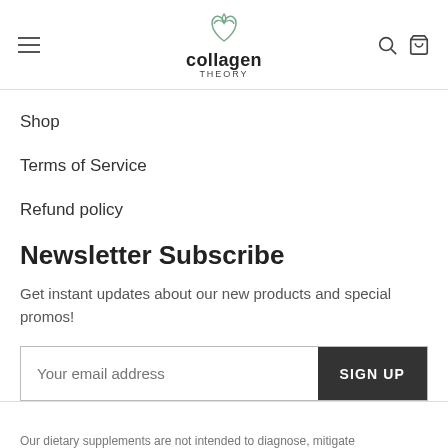collagen THEORY
Shop
Terms of Service
Refund policy
Newsletter Subscribe
Get instant updates about our new products and special promos!
Your email address  SIGN UP
Our dietary supplements are not intended to diagnose, mitigate